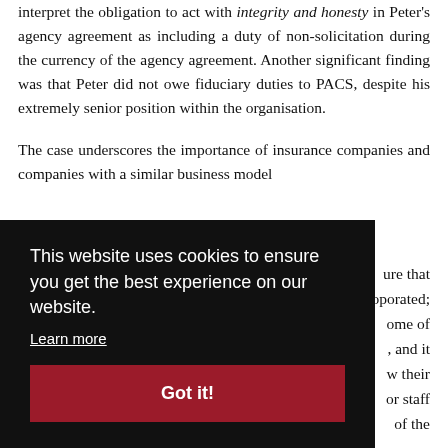interpret the obligation to act with integrity and honesty in Peter's agency agreement as including a duty of non-solicitation during the currency of the agency agreement. Another significant finding was that Peter did not owe fiduciary duties to PACS, despite his extremely senior position within the organisation.
The case underscores the importance of insurance companies and companies with a similar business model ... ure that ... oporated; ... ome of ... and it ... w their ... or staff ... of the
[Figure (screenshot): Cookie consent overlay popup with black background. Text reads: 'This website uses cookies to ensure you get the best experience on our website.' with a 'Learn more' link and a dark red 'Got it!' button.]